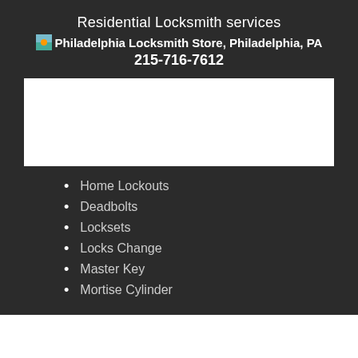Residential Locksmith services
Philadelphia Locksmith Store, Philadelphia, PA 215-716-7612
[Figure (photo): White rectangular image placeholder area]
Home Lockouts
Deadbolts
Locksets
Locks Change
Master Key
Mortise Cylinder
Philadelphia Locksmith Store
Philadelphia Locksmith Store | Hours: Monday through Sunday, All day [  map & reviews  ]